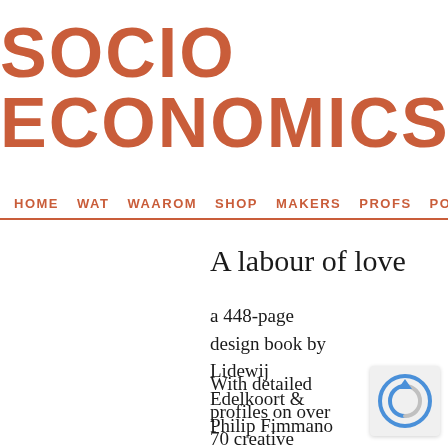SOCIO ECONOMICS
HOME  WAT  WAAROM  SHOP  MAKERS  PROFS  PODIUM  CONN
A labour of love
a 448-page design book by Lidewij Edelkoort & Philip Fimmano
With detailed profiles on over 70 creative studios in design, architecture,